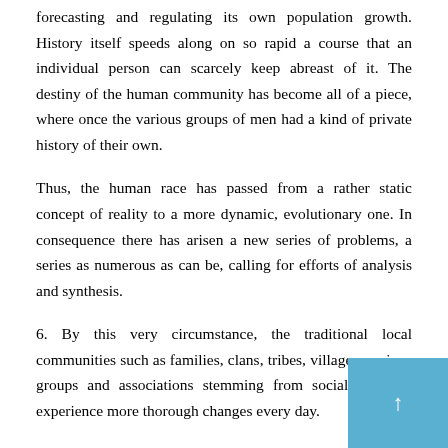forecasting and regulating its own population growth. History itself speeds along on so rapid a course that an individual person can scarcely keep abreast of it. The destiny of the human community has become all of a piece, where once the various groups of men had a kind of private history of their own.
Thus, the human race has passed from a rather static concept of reality to a more dynamic, evolutionary one. In consequence there has arisen a new series of problems, a series as numerous as can be, calling for efforts of analysis and synthesis.
6. By this very circumstance, the traditional local communities such as families, clans, tribes, villages, various groups and associations stemming from social contacts, experience more thorough changes every day.
The industrial type of society is gradually being spread, leading some nations to economic affluence, and radically transforming ideas and social conditions established for centuries.
Likewise, the cult and pursuit of city living has grown, either because of the multiplication of cities and their inhabitants, or by a transplantation of city life